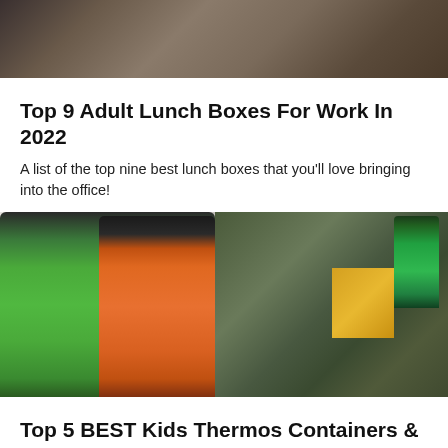[Figure (photo): Top partial photo of a person working, dark workshop or industrial setting]
Top 9 Adult Lunch Boxes For Work In 2022
A list of the top nine best lunch boxes that you'll love bringing into the office!
[Figure (photo): Photo of green and orange thermos/travel mugs with dark lids, alongside a green and yellow school backpack on a white wooden surface]
Top 5 BEST Kids Thermos Containers & Food Jars For School Lunch (2022)